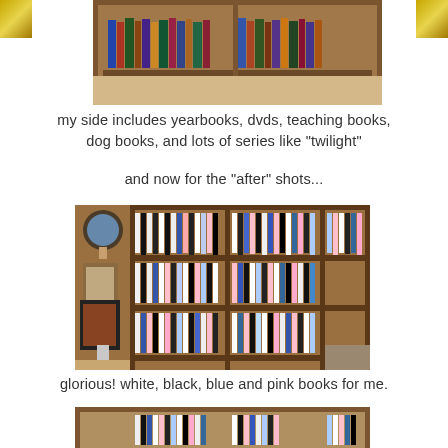[Figure (photo): Top portion of a wooden bookshelf with books visible, rotated/angled view, with gold glitter decoration in top corners]
my side includes yearbooks, dvds, teaching books, dog books, and lots of series like "twilight"
and now for the "after" shots...
[Figure (photo): Wooden bookshelf filled with organized books in white, black, blue, and pink colors, angled/rotated view showing multiple shelves with DVDs and books]
glorious! white, black, blue and pink books for me.
[Figure (photo): Bottom portion of another bookshelf view, partially visible]